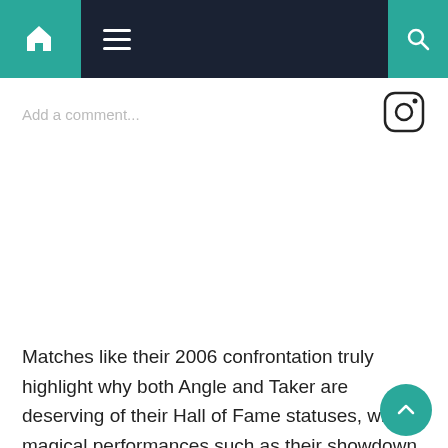Navigation bar with home, menu, and search icons
Add a comment...
[Figure (logo): Instagram logo icon]
Matches like their 2006 confrontation truly highlight why both Angle and Taker are deserving of their Hall of Fame statuses, with magical performances such as their showdown at No Way Out.
Kurt Angle learnt a lot from